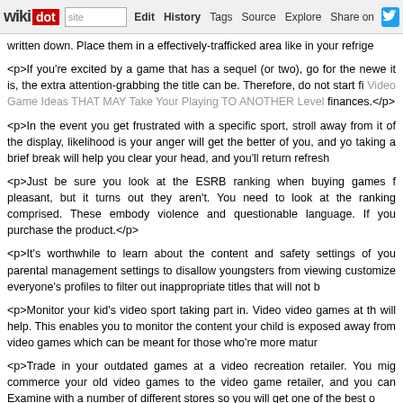wikidot | site | Edit | History | Tags | Source | Explore | Share on [Twitter]
written down. Place them in a effectively-trafficked area like in your refrige

<p>If you're excited by a game that has a sequel (or two), go for the newe it is, the extra attention-grabbing the title can be. Therefore, do not start fi Video Game Ideas THAT MAY Take Your Playing TO ANOTHER Level finances.</p>

<p>In the event you get frustrated with a specific sport, stroll away from it of the display, likelihood is your anger will get the better of you, and yo taking a brief break will help you clear your head, and you'll return refresh

<p>Just be sure you look at the ESRB ranking when buying games f pleasant, but it turns out they aren't. You need to look at the ranking comprised. These embody violence and questionable language. If you purchase the product.</p>

<p>It's worthwhile to learn about the content and safety settings of you parental management settings to disallow youngsters from viewing customize everyone's profiles to filter out inappropriate titles that will not b

<p>Monitor your kid's video sport taking part in. Video video games at th will help. This enables you to monitor the content your child is exposed away from video games which can be meant for those who're more matur

<p>Trade in your outdated games at a video recreation retailer. You mig commerce your old video games to the video game retailer, and you can Examine with a number of different stores so you will get one of the best o

<p>Hunt for instructional titles. They are not always prominently displa